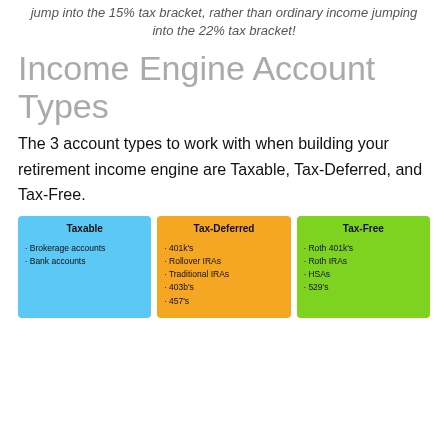jump into the 15% tax bracket, rather than ordinary income jumping into the 22% tax bracket!
Income Engine Account Types
The 3 account types to work with when building your retirement income engine are Taxable, Tax-Deferred, and Tax-Free.
[Figure (infographic): Three colored boxes side by side: blue (Taxable) with Brokerage accounts and Bank accounts; orange (Tax-Deferred) with 401k's, Rollover IRAs, Traditional IRAs, 403b's, 457's; green (Tax-Free) with Roth 401k's, Roth IRAs, HSAs, 529's.]